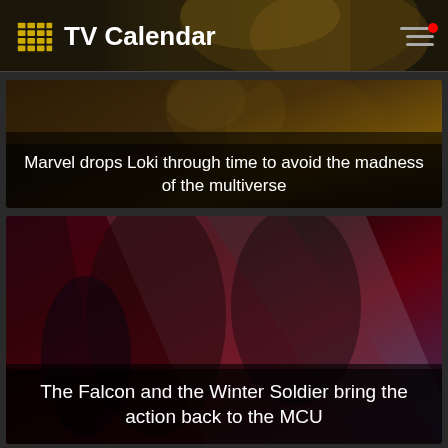TV Calendar
[Figure (photo): Marvel Loki article card with text overlay: Marvel drops Loki through time to avoid the madness of the multiverse]
Marvel drops Loki through time to avoid the madness of the multiverse
[Figure (photo): The Falcon and the Winter Soldier article card with text overlay: The Falcon and the Winter Soldier bring the action back to the MCU]
The Falcon and the Winter Soldier bring the action back to the MCU
[Figure (photo): WandaVision article card showing Wanda and Vision characters]